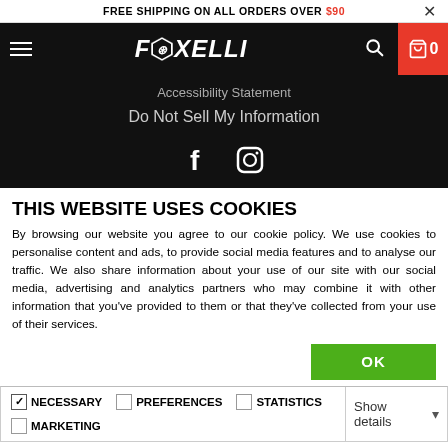FREE SHIPPING ON ALL ORDERS OVER $90
[Figure (logo): Foxelli brand logo in white italic text with hexagon graphic on black navbar]
Accessibility Statement
Do Not Sell My Information
[Figure (illustration): Facebook and Instagram social media icons in white on black background]
THIS WEBSITE USES COOKIES
By browsing our website you agree to our cookie policy. We use cookies to personalise content and ads, to provide social media features and to analyse our traffic. We also share information about your use of our site with our social media, advertising and analytics partners who may combine it with other information that you've provided to them or that they've collected from your use of their services.
OK
| ☑ NECESSARY | ☐ PREFERENCES | ☐ STATISTICS | Show details ▾ |
| ☐ MARKETING |  |  |  |